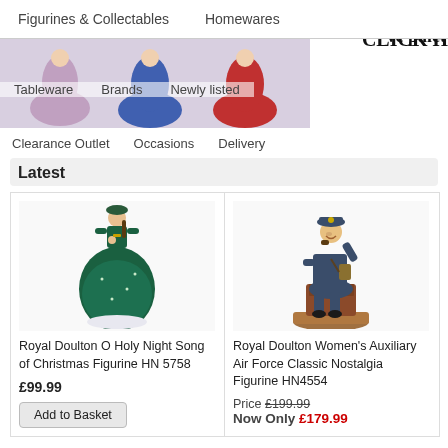Figurines & Collectables   Homewares
y hand
ve palet
CLICK H
Tableware   Brands   Newly Listed
Latest
Clearance Outlet   Occasions   Delivery
[Figure (photo): Royal Doulton O Holy Night Song of Christmas Figurine - woman in dark green dress and hat]
Royal Doulton O Holy Night Song of Christmas Figurine HN 5758
£99.99
Add to Basket
[Figure (photo): Royal Doulton Women's Auxiliary Air Force Classic Nostalgia Figurine - woman in blue RAF uniform seated]
Royal Doulton Women's Auxiliary Air Force Classic Nostalgia Figurine HN4554
Price £199.99
Now Only £179.99